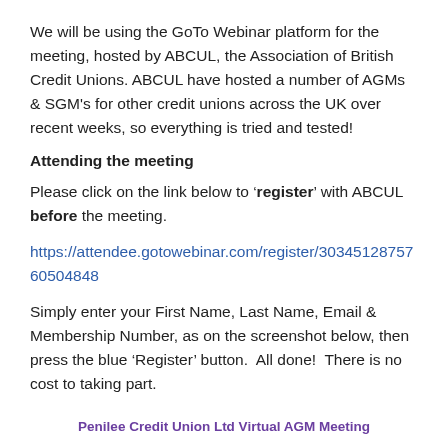We will be using the GoTo Webinar platform for the meeting, hosted by ABCUL, the Association of British Credit Unions. ABCUL have hosted a number of AGMs & SGM's for other credit unions across the UK over recent weeks, so everything is tried and tested!
Attending the meeting
Please click on the link below to 'register' with ABCUL before the meeting.
https://attendee.gotowebinar.com/register/3034512875760504848
Simply enter your First Name, Last Name, Email & Membership Number, as on the screenshot below, then press the blue 'Register' button.  All done!  There is no cost to taking part.
Penilee Credit Union Ltd Virtual AGM Meeting